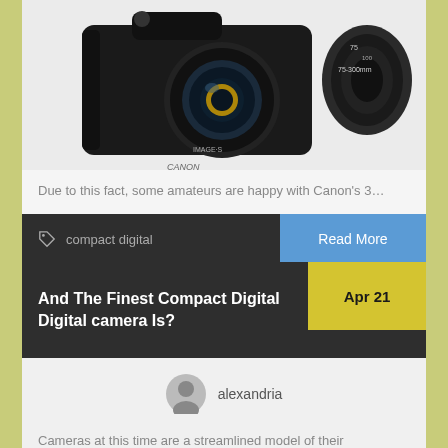[Figure (photo): Canon DSLR camera with two lenses against a white background]
Due to this fact, some amateurs are happy with Canon's 3…
compact digital
Read More
And The Finest Compact Digital Digital camera Is?
Apr 21
alexandria
Cameras at this time are a streamlined model of their forerunners. Compact digital cameras will be safely transported into planes and situations during which a bigger…